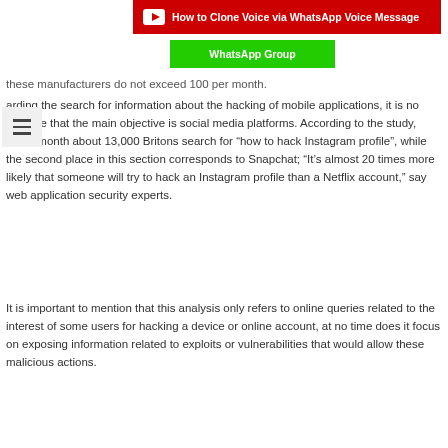[Figure (screenshot): YouTube video banner with red background showing 'How to Clone Voice via WhatsApp Voice Message']
[Figure (screenshot): Green WhatsApp Group button]
these manufacturers do not exceed 100 per month.
arding the search for information about the hacking of mobile applications, it is no surprise that the main objective is social media platforms. According to the study, every month about 13,000 Britons search for “how to hack Instagram profile”, while the second place in this section corresponds to Snapchat; “It’s almost 20 times more likely that someone will try to hack an Instagram profile than a Netflix account,” say web application security experts.
It is important to mention that this analysis only refers to online queries related to the interest of some users for hacking a device or online account, at no time does it focus on exposing information related to exploits or vulnerabilities that would allow these malicious actions.